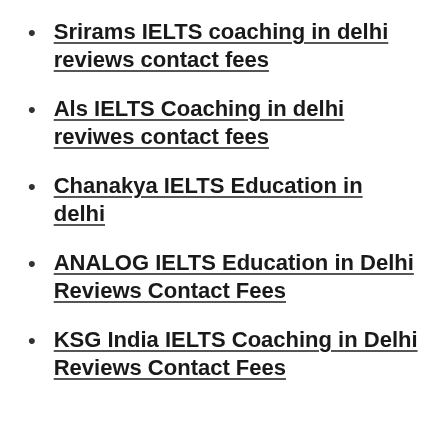Srirams IELTS coaching in delhi reviews contact fees
Als IELTS Coaching in delhi reviwes contact fees
Chanakya IELTS Education in delhi
ANALOG IELTS Education in Delhi Reviews Contact Fees
KSG India IELTS Coaching in Delhi Reviews Contact Fees